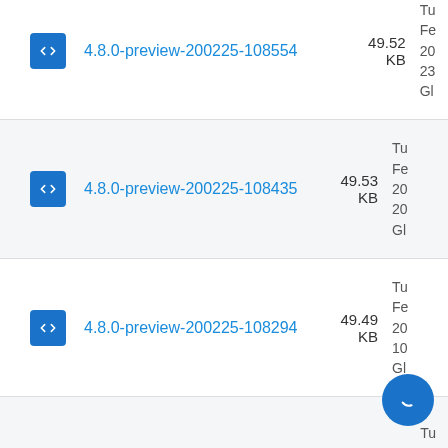4.8.0-preview-200225-108554 49.52 KB Tu Fe 20 23 Gl
4.8.0-preview-200225-108435 49.53 KB Tu Fe 20 20 Gl
4.8.0-preview-200225-108294 49.49 KB Tu Fe 20 10 Gl
Tu (partial)